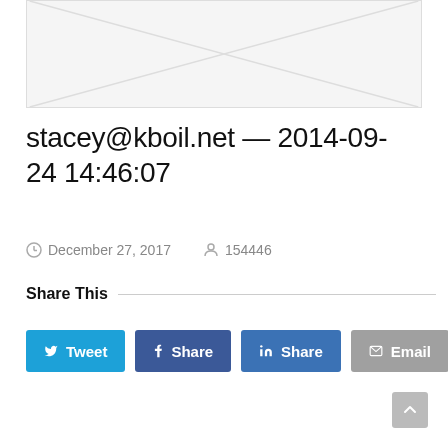[Figure (other): Placeholder image with diagonal lines forming an X, light gray background with border]
stacey@kboil.net — 2014-09-24 14:46:07
December 27, 2017   154446
Share This
Tweet  Share  Share  Email